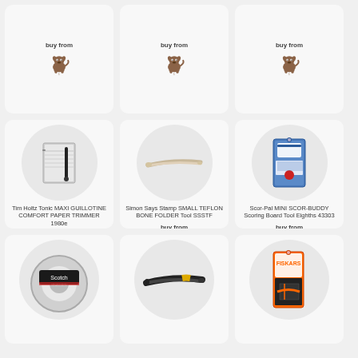buy from
[Figure (logo): Small dog/bulldog logo icon - Rakuten/Simon Says Stamp store logo]
buy from
[Figure (logo): Small dog/bulldog logo icon]
buy from
[Figure (logo): Small dog/bulldog logo icon]
[Figure (photo): Tim Holtz Tonic MAXI GUILLOTINE COMFORT PAPER TRIMMER 1980e product image]
Tim Holtz Tonic MAXI GUILLOTINE COMFORT PAPER TRIMMER 1980e
buy from
[Figure (logo): Small dog/bulldog logo icon]
[Figure (photo): Simon Says Stamp SMALL TEFLON BONE FOLDER Tool SSSTF product image]
Simon Says Stamp SMALL TEFLON BONE FOLDER Tool SSSTF
buy from
[Figure (logo): Small dog/bulldog logo icon]
[Figure (photo): Scor-Pal MINI SCOR-BUDDY Scoring Board Tool Eighths 43303 product image]
Scor-Pal MINI SCOR-BUDDY Scoring Board Tool Eighths 43303
buy from
[Figure (logo): Small dog/bulldog logo icon]
[Figure (photo): Scotch tape product image]
[Figure (photo): Black pen/marker tool product image]
[Figure (photo): Fiskars tool product image]